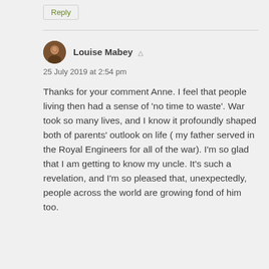Reply
Louise Mabey
25 July 2019 at 2:54 pm
Thanks for your comment Anne. I feel that people living then had a sense of 'no time to waste'. War took so many lives, and I know it profoundly shaped both of parents' outlook on life ( my father served in the Royal Engineers for all of the war). I'm so glad that I am getting to know my uncle. It's such a revelation, and I'm so pleased that, unexpectedly, people across the world are growing fond of him too.